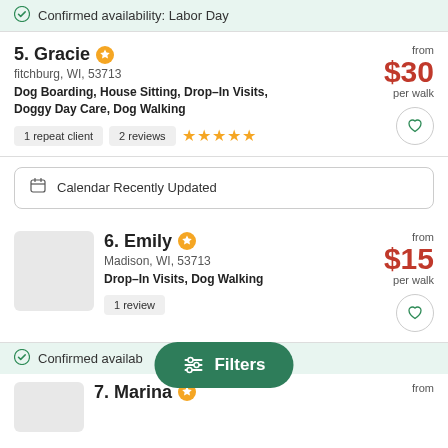Confirmed availability: Labor Day
5. Gracie
fitchburg, WI, 53713
Dog Boarding, House Sitting, Drop-In Visits, Doggy Day Care, Dog Walking
1 repeat client | 2 reviews | ★★★★★
from $30 per walk
Calendar Recently Updated
6. Emily
Madison, WI, 53713
Drop-In Visits, Dog Walking
1 review
from $15 per walk
Confirmed availab...
Filters
7. Marina
from